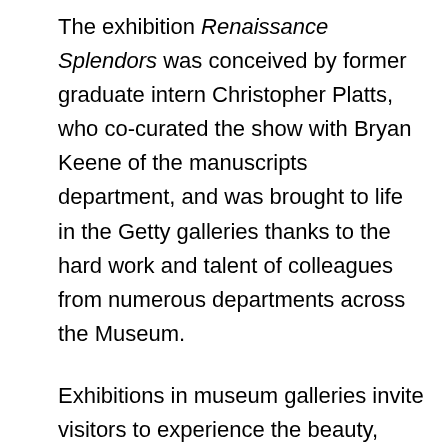The exhibition Renaissance Splendors was conceived by former graduate intern Christopher Platts, who co-curated the show with Bryan Keene of the manuscripts department, and was brought to life in the Getty galleries thanks to the hard work and talent of colleagues from numerous departments across the Museum.
Exhibitions in museum galleries invite visitors to experience the beauty, size, texture, and aura of artworks in a physical way. The virtual exhibition complements and extends that experience by bringing related works together online, making accessible the results of international curatorial collaboration. We hope it will serve as a lasting resource for scholars, professors, students, and anyone interested in books,